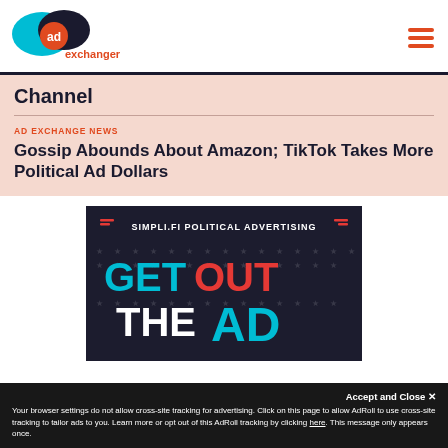[Figure (logo): AdExchanger logo with cyan and dark navy oval shapes, orange 'ad' circle, and orange 'exchanger' text]
Channel
AD EXCHANGE NEWS
Gossip Abounds About Amazon; TikTok Takes More Political Ad Dollars
[Figure (screenshot): Simpli.fi Political Advertising banner with dark background, stars, text GET OUT THE AD in cyan and red]
Accept and Close ✕
Your browser settings do not allow cross-site tracking for advertising. Click on this page to allow AdRoll to use cross-site tracking to tailor ads to you. Learn more or opt out of this AdRoll tracking by clicking here. This message only appears once.